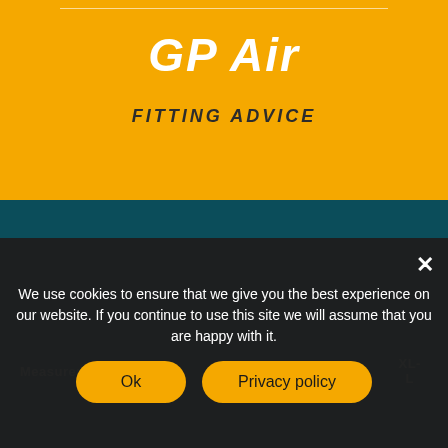GP Air
FITTING ADVICE
[Figure (other): Teal/dark background panel with size chart header row showing columns: Measurement, S, M, L, L-L, XL, XL-L]
| Measurement | S | M | L | L-L | XL | XL-L |
| --- | --- | --- | --- | --- | --- | --- |
We use cookies to ensure that we give you the best experience on our website. If you continue to use this site we will assume that you are happy with it.
Ok
Privacy policy